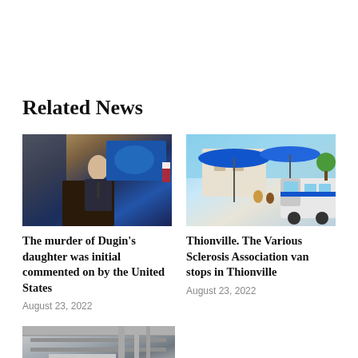Related News
[Figure (photo): A man in a suit speaking at a podium with a world map screen and blue curtain in the background, press briefing setting.]
The murder of Dugin's daughter was initial commented on by the United States
August 23, 2022
[Figure (photo): Outdoor scene with blue umbrellas, a blue van, and people in a town square in Thionville.]
Thionville. The Various Sclerosis Association van stops in Thionville
August 23, 2022
[Figure (photo): Industrial interior with large machinery and equipment, partially visible at bottom of page.]